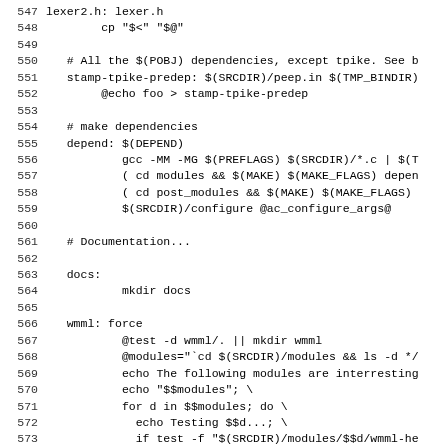Code listing lines 547-573 of a Makefile
547	lexer2.h: lexer.h
548		cp "$<" "$@"
549
550	# All the $(POBJ) dependencies, except tpike. See b
551	stamp-tpike-predep: $(SRCDIR)/peep.in $(TMP_BINDIR)
552		@echo foo > stamp-tpike-predep
553
554	# make dependencies
555	depend: $(DEPEND)
556			gcc -MM -MG $(PREFLAGS) $(SRCDIR)/*.c | $(T
557			( cd modules && $(MAKE) $(MAKE_FLAGS) depen
558			( cd post_modules && $(MAKE) $(MAKE_FLAGS)
559			$(SRCDIR)/configure @ac_configure_args@
560
561	# Documentation...
562
563	docs:
564			mkdir docs
565
566	wmml: force
567			@test -d wmml/. || mkdir wmml
568			@modules="`cd $(SRCDIR)/modules && ls -d */
569			echo The following modules are interresting
570			echo "$$modules"; \
571			for d in $$modules; do \
572			  echo Testing $$d...; \
573			  if test -f "$(SRCDIR)/modules/$$d/wmml-he